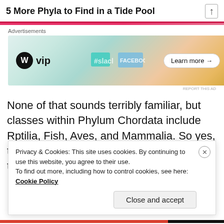5 More Phyla to Find in a Tide Pool
[Figure (screenshot): WordPress VIP advertisement banner with Slack, Facebook logos and 'Learn more' button]
None of that sounds terribly familiar, but classes within Phylum Chordata include Rptilia, Fish, Aves, and Mammalia. So yes, the Rockfish trapped in pools waiting for the tide to rise again, and the Gulls dining
Privacy & Cookies: This site uses cookies. By continuing to use this website, you agree to their use.
To find out more, including how to control cookies, see here: Cookie Policy

Close and accept